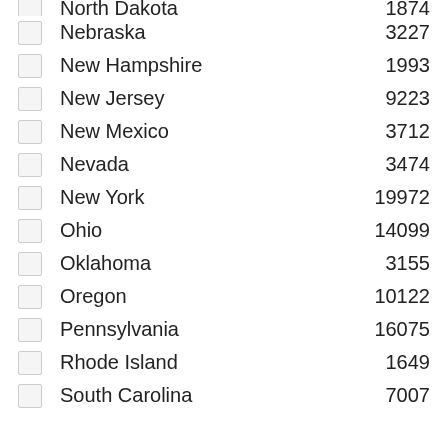North Dakota 1874
Nebraska 3227
New Hampshire 1993
New Jersey 9223
New Mexico 3712
Nevada 3474
New York 19972
Ohio 14099
Oklahoma 3155
Oregon 10122
Pennsylvania 16075
Rhode Island 1649
South Carolina 7007